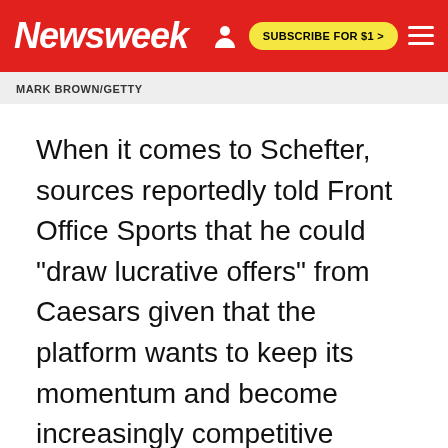Newsweek | SUBSCRIBE FOR $1 >
MARK BROWN/GETTY
When it comes to Schefter, sources reportedly told Front Office Sports that he could "draw lucrative offers" from Caesars given that the platform wants to keep its momentum and become increasingly competitive among other sports gambling apps.